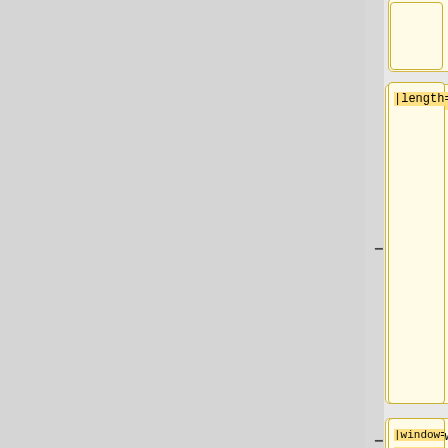[Figure (screenshot): Diff/comparison table view showing two columns: left column (yellow background) contains wiki markup code changes, right column (light blue background) contains config change descriptions. Row 1 partial: top yellow cell empty, top blue cell shows 'rules'. Row 2: yellow cell shows '|length=1', blue cell shows '* [config] {{gerrit|822725}} Add new throttle rule'. Row 3: yellow cell shows '|window= [[mw:Services|Services]] - [[mw:Parsoid/Deployments|Parsoid]] / [[OCG/Deployments|OCG]] / Citoid / [[mw:Wikimedia_Apps/Team', blue cell shows '* [config] {{gerrit|820838}} Pin wgCheckUserLogReasonMigrationStage to read and write old'. Minus (-) and plus (+) signs appear between columns as diff indicators.]